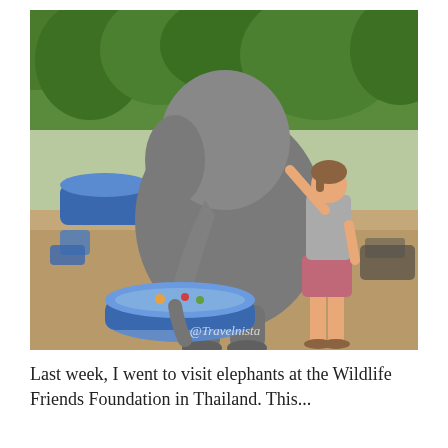[Figure (photo): A woman in a grey tank top and pink shorts stands next to a large elephant outdoors at what appears to be an elephant sanctuary. The elephant's trunk is dipped into a blue tub of water/food. There are trees in the background and blue containers visible. A watermark reads '@Travelnista'.]
Last week, I went to visit elephants at the Wildlife Friends Foundation in Thailand. This...